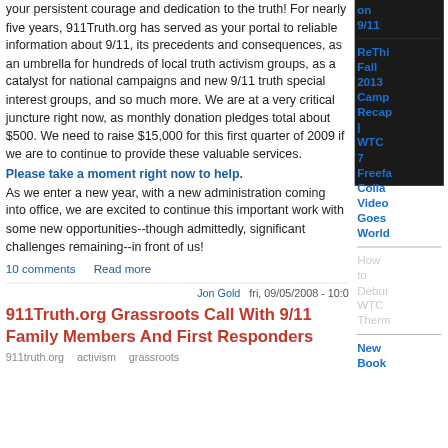your persistent courage and dedication to the truth! For nearly five years, 911Truth.org has served as your portal to reliable information about 9/11, its precedents and consequences, as an umbrella for hundreds of local truth activism groups, as a catalyst for national campaigns and new 9/11 truth special interest groups, and so much more. We are at a very critical juncture right now, as monthly donation pledges total about $500. We need to raise $15,000 for this first quarter of 2009 if we are to continue to provide these valuable services.
Please take a moment right now to help.
As we enter a new year, with a new administration coming into office, we are excited to continue this important work with some new opportunities--though admittedly, significant challenges remaining--in front of us!
10 comments   Read more
Jon Gold   fri, 09/05/2008 - 10:0
911Truth.org Grassroots Call With 9/11 Family Members And First Responders
911truth.org   activism   grassroots
on 9/11
ReThi Fall 2013 Camp Recap | WTC 7 Freefa Colla Video Goes World
How to Debur WTC Therm
New Book